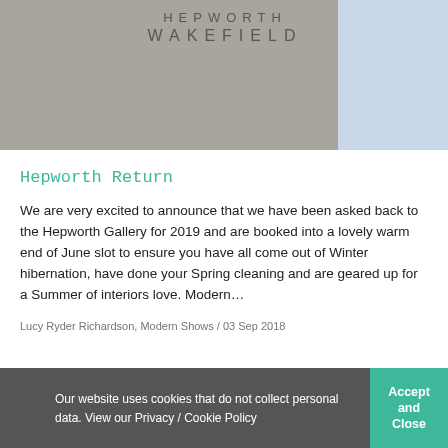[Figure (photo): Exterior concrete wall of Hepworth Wakefield gallery with engraved text 'HEPWORTH WAKEFIELD' in large carved letters, photographed from below against a light blue sky.]
Hepworth Return
We are very excited to announce that we have been asked back to the Hepworth Gallery for 2019 and are booked into a lovely warm end of June slot to ensure you have all come out of Winter hibernation, have done your Spring cleaning and are geared up for a Summer of interiors love. Modern…
Lucy Ryder Richardson, Modern Shows / 03 Sep 2018
> OLDER
NEWER <
Our website uses cookies that do not collect personal data. View our Privacy / Cookie Policy
Accept and Close